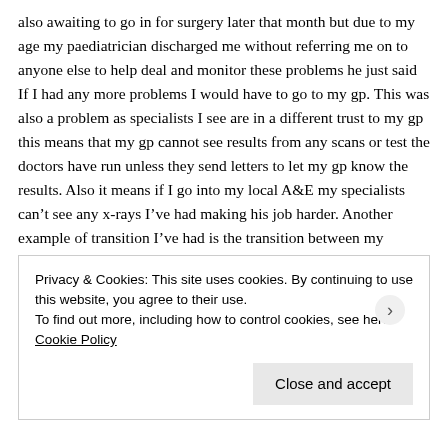also awaiting to go in for surgery later that month but due to my age my paediatrician discharged me without referring me on to anyone else to help deal and monitor these problems he just said If I had any more problems I would have to go to my gp. This was also a problem as specialists I see are in a different trust to my gp this means that my gp cannot see results from any scans or test the doctors have run unless they send letters to let my gp know the results. Also it means if I go into my local A&E my specialists can't see any x-rays I've had making his job harder. Another example of transition I've had is the transition between my orthopaedic surgeons. This was an uncomfortable experience for me as I got transferred 3 times to different people care. This was after them spending months of not
Privacy & Cookies: This site uses cookies. By continuing to use this website, you agree to their use.
To find out more, including how to control cookies, see here: Cookie Policy
Close and accept